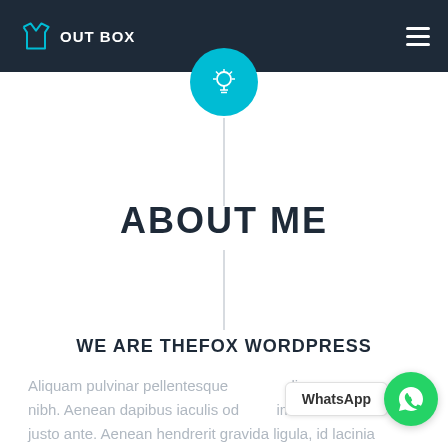OUT BOX
[Figure (logo): Outbox logo with teal shirt icon and 'OUT BOX' text on dark navy navigation bar]
[Figure (illustration): Cyan circle with white lightbulb icon]
ABOUT ME
WE ARE THEFOX WORDPRESS
Aliquam pulvinar pellentesque nidi nibh. Aenean dapibus iaculis od im t justo ante. Aenean hendrerit gravida ligula, id lacinia
[Figure (illustration): WhatsApp button with label and green circle with phone icon]